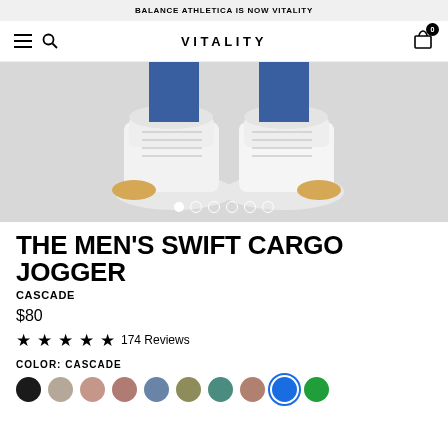BALANCE ATHLETICA IS NOW VITALITY
VITALITY
[Figure (photo): Product photo showing feet wearing white sneakers with gum soles, with blue pants visible at the ankle, on a light gray background. Carousel with 6 dots is visible at the bottom of the image.]
THE MEN'S SWIFT CARGO JOGGER
CASCADE
$80
★ ★ ★ ★ ★ 174 Reviews
COLOR: CASCADE
[Figure (other): Color swatches row: black, light taupe, mauve, dusty rose, steel blue, olive, teal, clay, cascade blue (selected with blue ring), kelly green]